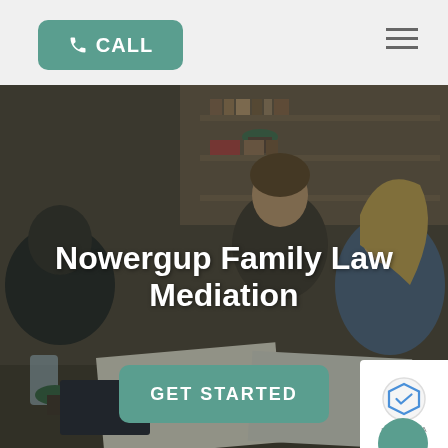CALL
[Figure (screenshot): Hero image showing three people (two men and a woman) looking at documents together in an office setting, with a dark overlay]
Nowergup Family Law Mediation
GET STARTED